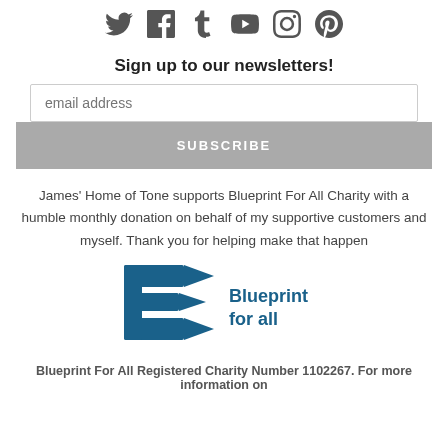[Figure (illustration): Social media icons: Twitter, Facebook, Tumblr, YouTube, Instagram, Pinterest]
Sign up to our newsletters!
email address
SUBSCRIBE
James' Home of Tone supports Blueprint For All Charity with a humble monthly donation on behalf of my supportive customers and myself. Thank you for helping make that happen
[Figure (logo): Blueprint For All charity logo — blue arrow/B shape with text 'Blueprint for all']
Blueprint For All Registered Charity Number 1102267. For more information on